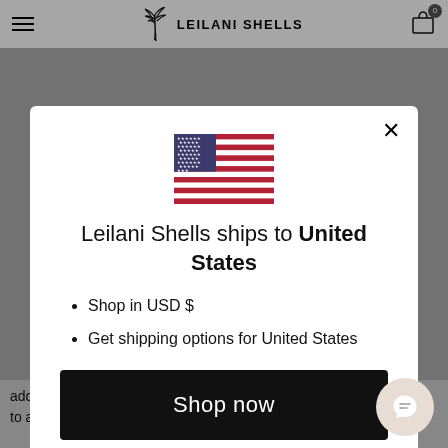LEILANI SHELLS
[Figure (illustration): US flag SVG illustration centered in modal]
Leilani Shells ships to United States
Shop in USD $
Get shipping options for United States
Shop now
Change shipping country
add a touch of glam to any outfit and go
dangling down my back. It pairs so well with my Leilani shells